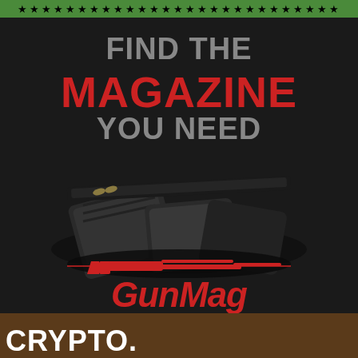[Figure (illustration): Green banner with black stars across the top of the page]
[Figure (illustration): GunMag Warehouse advertisement on dark background. Shows text 'FIND THE MAGAZINE YOU NEED' with an image of rifle magazines stacked together, and the GunMag Warehouse logo at the bottom with a stylized firearm graphic.]
[Figure (illustration): Advertisement with brown background showing white bold text reading 'CRYPTO. METAL. IRA.' with a partial gold bar visible in the lower right corner.]